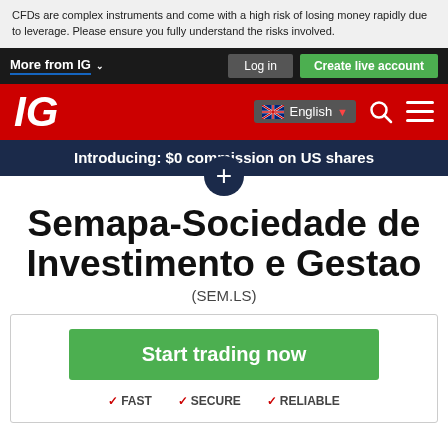CFDs are complex instruments and come with a high risk of losing money rapidly due to leverage. Please ensure you fully understand the risks involved.
More from IG  Log in  Create live account
[Figure (logo): IG brand logo in white italic text on red background, with Australian flag, English language selector, search icon, and hamburger menu]
Introducing: $0 commission on US shares
Semapa-Sociedade de Investimento e Gestao
(SEM.LS)
Start trading now
✓ FAST  ✓ SECURE  ✓ RELIABLE